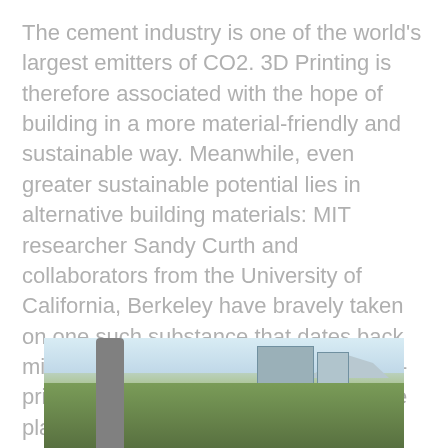The cement industry is one of the world's largest emitters of CO2. 3D Printing is therefore associated with the hope of building in a more material-friendly and sustainable way. Meanwhile, even greater sustainable potential lies in alternative building materials: MIT researcher Sandy Curth and collaborators from the University of California, Berkeley have bravely taken on one such substance that dates back millennia – clay – and have already 3D-printed some initial test buildings on the plains of Colorado. The challenges, however, are immense.
[Figure (photo): Outdoor photo showing a metal pole in the foreground, green vegetation/tall grass in the middle ground, a building structure visible in the background, and mountains or hills in the far background under a light sky.]